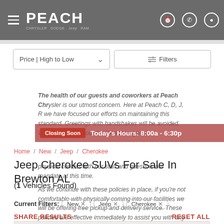PEACH | Jeep Dealership
Price | High to Low — Filters
The health of our guests and coworkers at Peach Chrysler... mandate at this time. Also available is our door to door (d2d) sales process. From our front door to your front door we will bring any vehicle to you, be it a car, truck, or SUV...
Closing Soon   Today's Hours: 8:00a - 6:30p
Home / New / Jeep / Cherokee
Jeep Cherokee SUVs For Sale In Brewton AL
(1 Vehicles Found)
Current Filters: New  ×   Jeep  ×   Cherokee  ×
SHARE RESULTS                              RESET ALL
[Figure (photo): Partial view of a Jeep Cherokee SUV in gray/silver color at the bottom of the page]